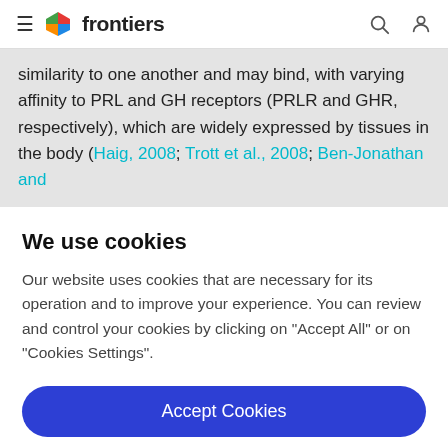frontiers
similarity to one another and may bind, with varying affinity to PRL and GH receptors (PRLR and GHR, respectively), which are widely expressed by tissues in the body (Haig, 2008; Trott et al., 2008; Ben-Jonathan and
We use cookies
Our website uses cookies that are necessary for its operation and to improve your experience. You can review and control your cookies by clicking on "Accept All" or on "Cookies Settings".
Accept Cookies
Cookies Settings